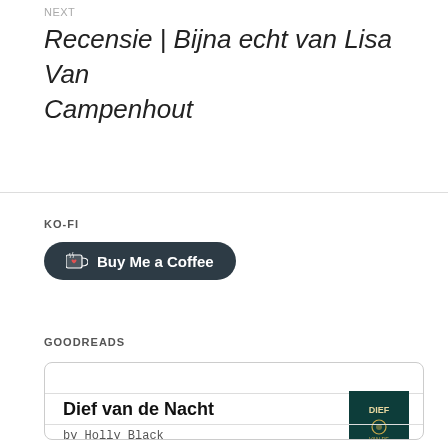NEXT
Recensie | Bijna echt van Lisa Van Campenhout
KO-FI
[Figure (other): Ko-fi 'Buy Me a Coffee' dark rounded button with coffee cup icon and heart]
GOODREADS
[Figure (other): Goodreads card widget showing book 'Dief van de Nacht' by Holly Black with book cover image]